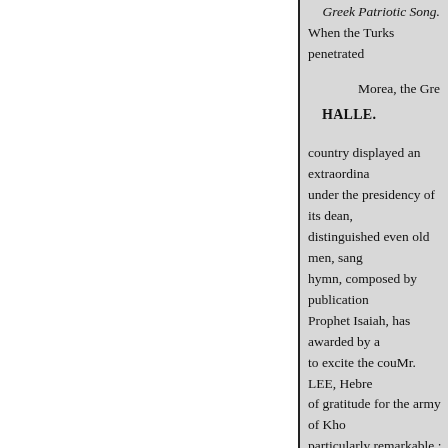Greek Patriotic Song.
When the Turks penetrated
Morea, the Gre
HALLE.
country displayed an extraordina under the presidency of its dean, distinguished even old men, sang hymn, composed by publication Prophet Isaiah, has awarded by a to excite the couMr. LEE, Hebre of gratitude for the army of Kho particularly remarkable : Bible w The motives for granting conque sacred war. Nature and reli"Prop doctrinam, permultis biblioriem country." splendidè probatam, a
DEATHS ABROAD.
The sciences and arts have to
plore the loss of M. Galin, inven
of the Méthode du Métoplaste, n
Germany by a work bearing the